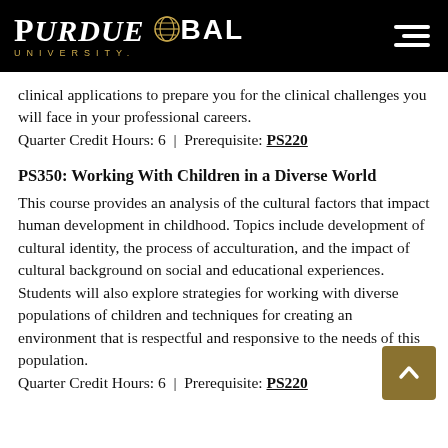PURDUE UNIVERSITY GLOBAL
clinical applications to prepare you for the clinical challenges you will face in your professional careers. Quarter Credit Hours: 6 | Prerequisite: PS220
PS350: Working With Children in a Diverse World
This course provides an analysis of the cultural factors that impact human development in childhood. Topics include development of cultural identity, the process of acculturation, and the impact of cultural background on social and educational experiences. Students will also explore strategies for working with diverse populations of children and techniques for creating an environment that is respectful and responsive to the needs of this population. Quarter Credit Hours: 6 | Prerequisite: PS220